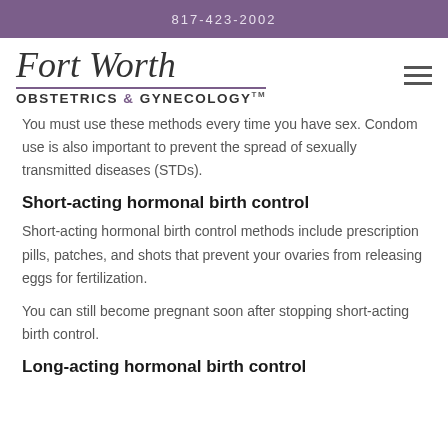817-423-2002
[Figure (logo): Fort Worth Obstetrics & Gynecology logo with cursive script and sans-serif subtitle, plus hamburger menu icon]
You must use these methods every time you have sex. Condom use is also important to prevent the spread of sexually transmitted diseases (STDs).
Short-acting hormonal birth control
Short-acting hormonal birth control methods include prescription pills, patches, and shots that prevent your ovaries from releasing eggs for fertilization.
You can still become pregnant soon after stopping short-acting birth control.
Long-acting hormonal birth control